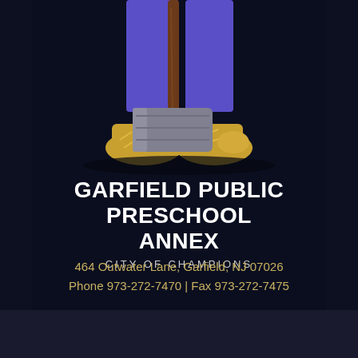[Figure (illustration): Cartoon illustration of legs wearing purple pants and yellow shoes, holding a large sledgehammer on a dark background]
GARFIELD PUBLIC PRESCHOOL ANNEX
CITY OF CHAMPIONS
464 Outwater Lane, Garfield, NJ 07026
Phone 973-272-7470 | Fax 973-272-7475